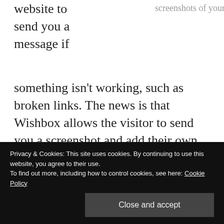website to send you a message if
screenshots of your website
something isn't working, such as broken links. The news is that Wishbox allows the visitor to send you a screenshot and add their own notes to point to the problem they found on the page.
This can be very useful for website design projects where lots of people are working remotely to put together a new site, as for the ContractStore website refresh that Spider managed recently.
Privacy & Cookies: This site uses cookies. By continuing to use this website, you agree to their use.
To find out more, including how to control cookies, see here: Cookie Policy
Close and accept